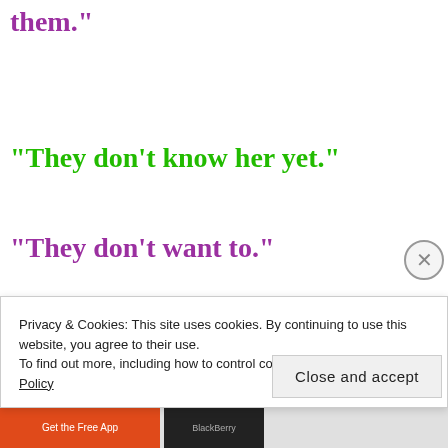“You’ve chosen an outsider to rule over them.”
“They don’t know her yet.”
“They don’t want to.”
“They need time. They’ll come to love her just as I have.”
Privacy & Cookies: This site uses cookies. By continuing to use this website, you agree to their use.
To find out more, including how to control cookies, see here: Cookie Policy